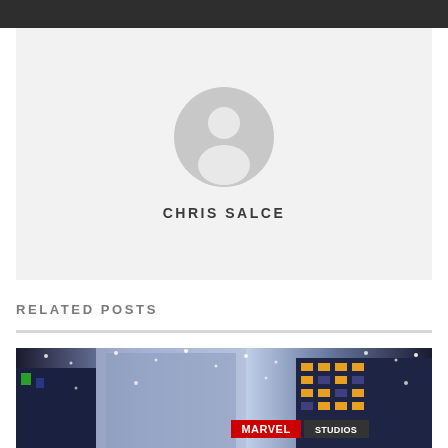[Figure (illustration): Default user avatar silhouette icon in gray circle on light gray background]
CHRIS SALCE
RELATED POSTS
[Figure (photo): Marvel Studios promotional image showing a snowy city skyline at night with tall buildings and snow falling, Marvel Studios logo visible in lower right]